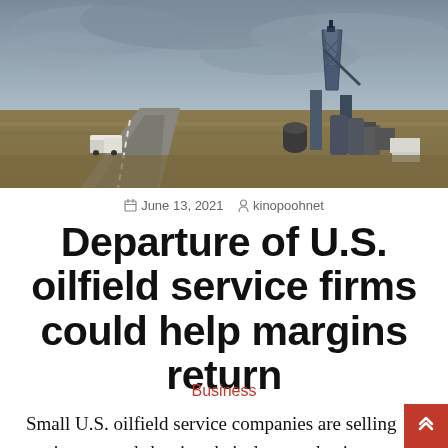[Figure (photo): Oil field scene with a drilling rig on the right and a truck on a road on the left, under an overcast sky, dry grassland in the background.]
June 13, 2021   kinopoohnet
Departure of U.S. oilfield service firms could help margins return
Business
Small U.S. oilfield service companies are selling equipment and shutting their doors as business